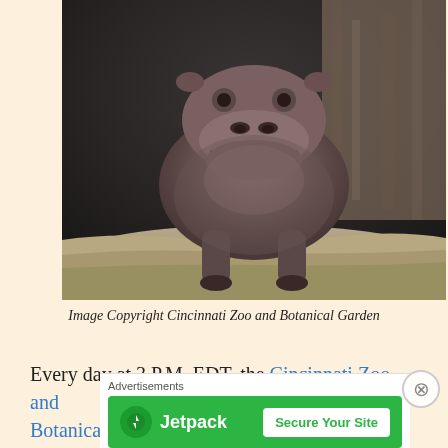[Figure (photo): A pygmy hippopotamus standing and facing the camera in an enclosure with a dark wall background and sandy/dirt floor at the Cincinnati Zoo and Botanical Garden.]
Image Copyright Cincinnati Zoo and Botanical Garden
Every day at 3 P.M. EDT, the Cincinnati Zoo and Botanical Garden will be hosting a Facebook St...
[Figure (other): Jetpack advertisement banner with 'Secure Your Site' button and a close (X) button overlay.]